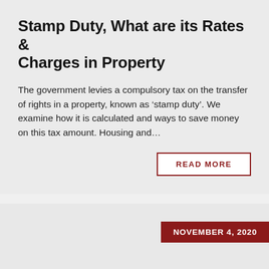Stamp Duty, What are its Rates & Charges in Property
The government levies a compulsory tax on the transfer of rights in a property, known as ‘stamp duty’. We examine how it is calculated and ways to save money on this tax amount. Housing and…
READ MORE
NOVEMBER 4, 2020